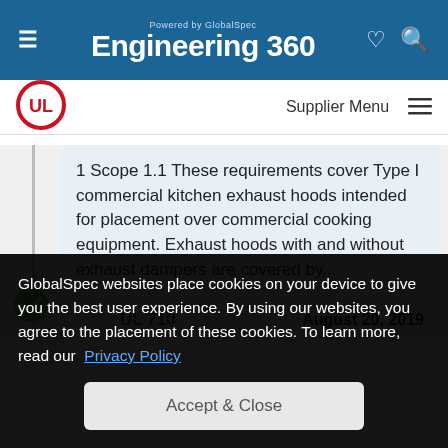Powered by GlobalSpec Engineering 360
[Figure (logo): UL circular logo with red border and white UL letters]
Supplier Menu
1 Scope 1.1 These requirements cover Type I commercial kitchen exhaust hoods intended for placement over commercial cooking equipment. Exhaust hoods with and without exhaust dampers are covered by...
UL 710    August 20, 2019
GlobalSpec websites place cookies on your device to give you the best user experience. By using our websites, you agree to the placement of these cookies. To learn more, read our Privacy Policy
Accept & Close